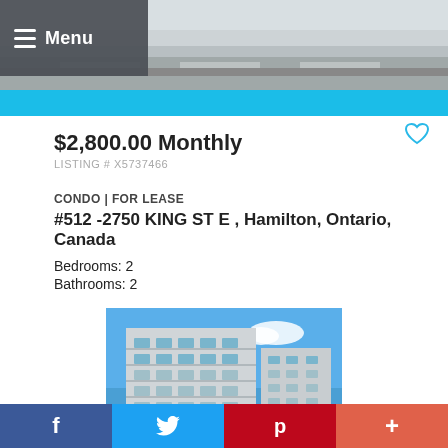[Figure (photo): Aerial/road view photo at top of page]
Menu
$2,800.00 Monthly
LISTING # X5737466
CONDO | FOR LEASE
#512 -2750 KING ST E , Hamilton, Ontario, Canada
Bedrooms: 2
Bathrooms: 2
[Figure (photo): Multi-storey condo building against blue sky]
f  Twitter  p  +